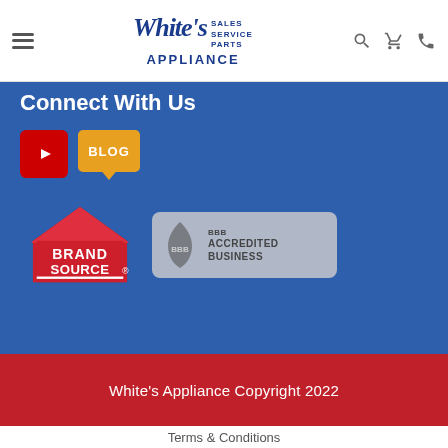[Figure (logo): White's Appliance logo with script 'White's' text and SALES SERVICE PARTS tagline]
Connect With Us
[Figure (logo): YouTube icon (red square with play button) and Blog icon (orange speech bubble with BLOG text)]
[Figure (logo): Brand Source logo (red house shape) and BBB Accredited Business badge]
White's Appliance Copyright 2022
Terms & Conditions